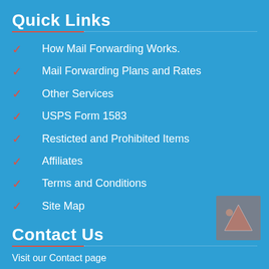Quick Links
How Mail Forwarding Works.
Mail Forwarding Plans and Rates
Other Services
USPS Form 1583
Resticted and Prohibited Items
Affiliates
Terms and Conditions
Site Map
Contact Us
Visit our Contact page